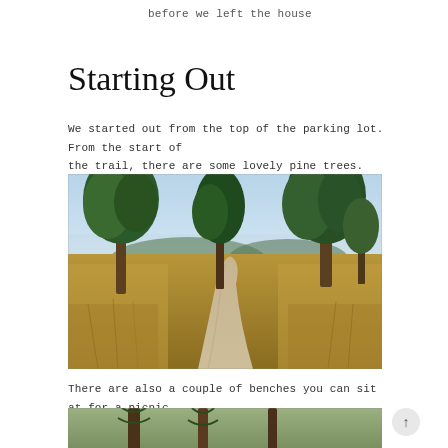before we left the house
Starting Out
We started out from the top of the parking lot. From the start of the trail, there are some lovely pine trees.
[Figure (photo): A hiking trail winding through dry golden grassland with tall pine trees on either side under a hazy blue sky. The narrow dirt path curves away into the distance.]
There are also a couple of benches you can sit at for a picnic.
[Figure (photo): Bottom portion of another outdoor trail photo showing trees and vegetation.]